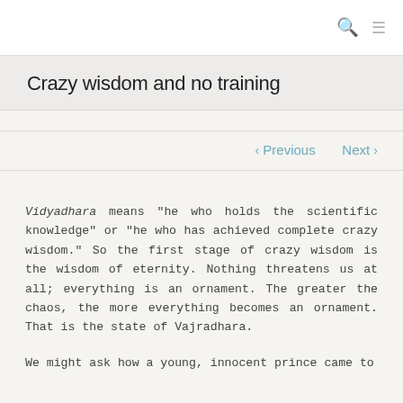Crazy wisdom and no training
< Previous   Next >
Vidyadhara means "he who holds the scientific knowledge" or "he who has achieved complete crazy wisdom." So the first stage of crazy wisdom is the wisdom of eternity. Nothing threatens us at all; everything is an ornament. The greater the chaos, the more everything becomes an ornament. That is the state of Vajradhara.
We might ask how a young, innocent prince came to